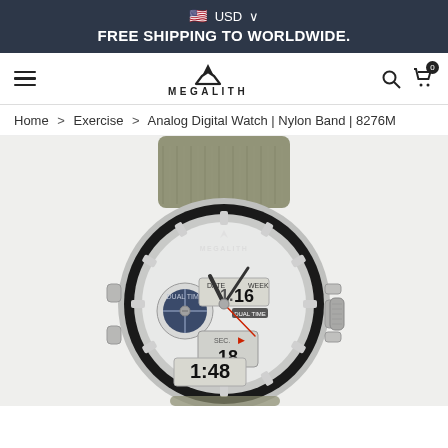USD  FREE SHIPPING TO WORLDWIDE.
[Figure (logo): Megalith brand logo with M symbol and text MEGALITH]
Home > Exercise > Analog Digital Watch | Nylon Band | 8276M
[Figure (photo): Megalith analog digital watch model 8276M with olive/khaki nylon band, silver case, displaying DATE 16, WEEK, DUAL TIME, SEC 18, 1:48]